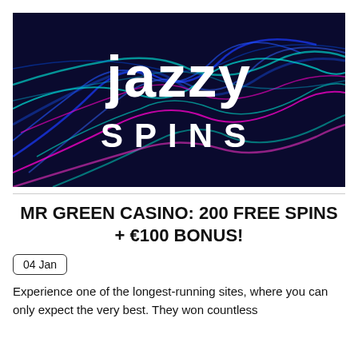[Figure (illustration): Jazzy Spins casino logo — dark blue/navy background with neon blue, teal, and magenta swirling lines suggesting a jazz musician playing saxophone. Large bold white text reads 'JAZZY' on top line and 'SPINS' below in spaced-out letters.]
MR GREEN CASINO: 200 FREE SPINS + €100 BONUS!
04 Jan
Experience one of the longest-running sites, where you can only expect the very best. They won countless